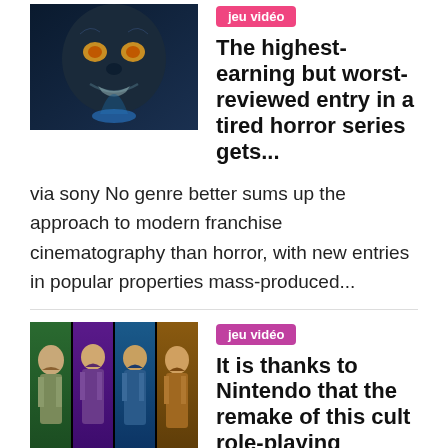[Figure (photo): Dark horror game or movie thumbnail showing a scary face in blue tones]
jeu vidéo
The highest-earning but worst-reviewed entry in a tired horror series gets...
via sony No genre better sums up the approach to modern franchise cinematography than horror, with new entries in popular properties mass-produced...
[Figure (photo): Colorful RPG game characters collage with green, purple, and orange tones]
jeu vidéo
It is thanks to Nintendo that the remake of this cult role-playing game...
Game News It is thanks to Nintendo that the remake of this cult role-playing game from Square Enix was able to see the light of day! Published